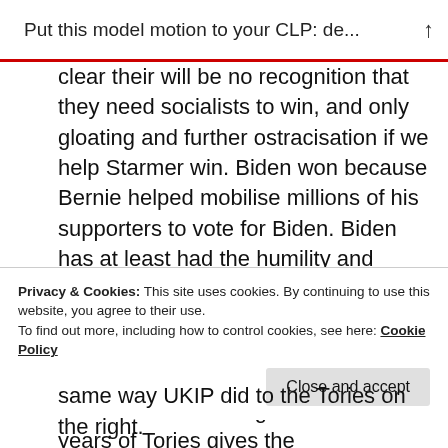Put this model motion to your CLP: de...
clear their will be no recognition that they need socialists to win, and only gloating and further ostracisation if we help Starmer win. Biden won because Bernie helped mobilise millions of his supporters to vote for Biden. Biden has at least had the humility and brains to acknowledge this unity. Starmer is too arrogant and stupid and expects us to do the same ‘because Tories’. We can’t afford to let centrists take the reigns. 4 more years of Tories gives the
Privacy & Cookies: This site uses cookies. By continuing to use this website, you agree to their use.
To find out more, including how to control cookies, see here: Cookie Policy
same way UKIP did to the Tories on the right.